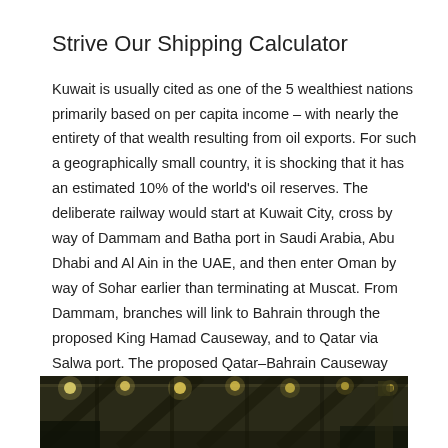Strive Our Shipping Calculator
Kuwait is usually cited as one of the 5 wealthiest nations primarily based on per capita income – with nearly the entirety of that wealth resulting from oil exports. For such a geographically small country, it is shocking that it has an estimated 10% of the world's oil reserves. The deliberate railway would start at Kuwait City, cross by way of Dammam and Batha port in Saudi Arabia, Abu Dhabi and Al Ain in the UAE, and then enter Oman by way of Sohar earlier than terminating at Muscat. From Dammam, branches will link to Bahrain through the proposed King Hamad Causeway, and to Qatar via Salwa port. The proposed Qatar–Bahrain Causeway between Bahrain and Qatar will present extra connectivity.
[Figure (photo): Interior photograph showing a dimly lit industrial or transit facility with ceiling lights visible]